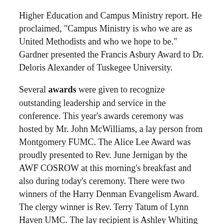Higher Education and Campus Ministry report. He proclaimed, "Campus Ministry is who we are as United Methodists and who we hope to be." Gardner presented the Francis Asbury Award to Dr. Deloris Alexander of Tuskegee University.
Several awards were given to recognize outstanding leadership and service in the conference. This year's awards ceremony was hosted by Mr. John McWilliams, a lay person from Montgomery FUMC. The Alice Lee Award was proudly presented to Rev. June Jernigan by the AWF COSROW at this morning's breakfast and also during today's ceremony. There were two winners of the Harry Denman Evangelism Award. The clergy winner is Rev. Terry Tatum of Lynn Haven UMC. The lay recipient is Ashley Whiting of The Way UMC (Pace, FL). The One Church Matters Award was given to Satsuma UMC by the AWF Town and Country Commission. Dr. Deloris Alexander was presented the Francis Asbury Award by the AWF Board of Higher Education and Campus Ministry for her work with the Tuskegee University Wesley Foundation. Rev. Kristen Curtis Wright of Ashland Place UMC and Jenn Knox were